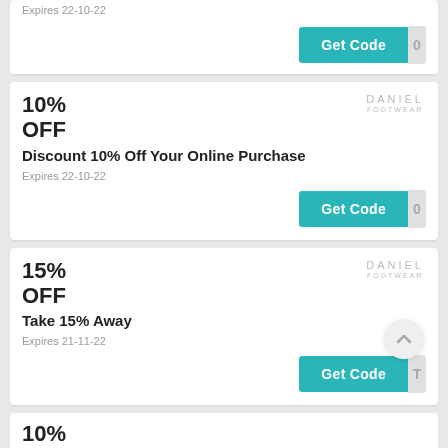Expires 22-10-22
Get Code
10% OFF
DANIEL FOOTWEAR
Discount 10% Off Your Online Purchase
Expires 22-10-22
Get Code
15% OFF
DANIEL FOOTWEAR
Take 15% Away
Expires 21-11-22
Get Code
10%